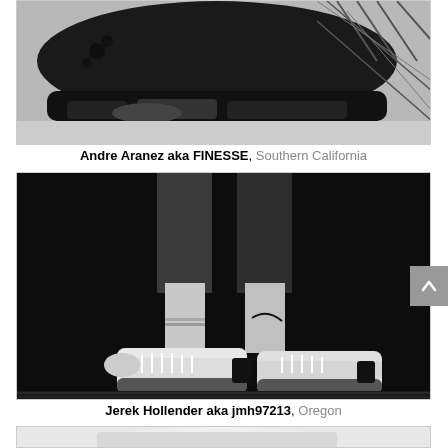[Figure (photo): Black and white photo of Air Jordan sneaker sole/bottom viewed from below, with a basketball net visible in the background. Shot from a low angle.]
Andre Aranez aka FINESSE, Southern California
[Figure (photo): Black and white photo of a person wearing Air Jordan 3 sneakers (white cement colorway) with Nike socks and basketball shorts, shot in a dark studio setting on what appears to be a wooden floor.]
Jerek Hollender aka jmh97213, Oregon
[Figure (photo): Partial view of a third sneaker photo at the bottom of the page, showing what appears to be a light-colored sneaker.]